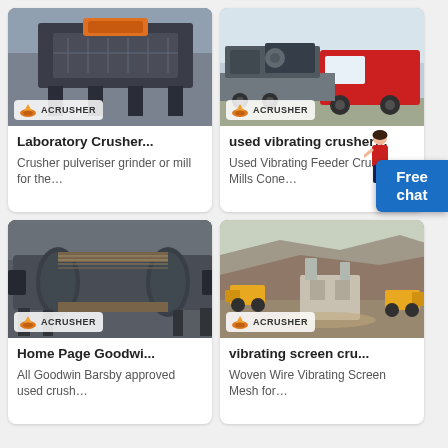[Figure (photo): Industrial crusher machine in a factory/outdoor setting with ACRUSHER branding badge]
Laboratory Crusher...
Crusher pulveriser grinder or mill for the…
[Figure (photo): Red truck with heavy machinery loaded on flatbed, ACRUSHER branding badge]
used vibrating crusher…
Used Vibrating Feeder Crusher Mills Cone…
[Figure (photo): Industrial vibrating screen/conveyor equipment in warehouse, ACRUSHER branding badge]
Home Page Goodwi...
All Goodwin Barsby approved used crush…
[Figure (photo): Quarry/mining site aerial view with yellow machinery and stone, ACRUSHER branding badge]
vibrating screen cru...
Woven Wire Vibrating Screen Mesh for…